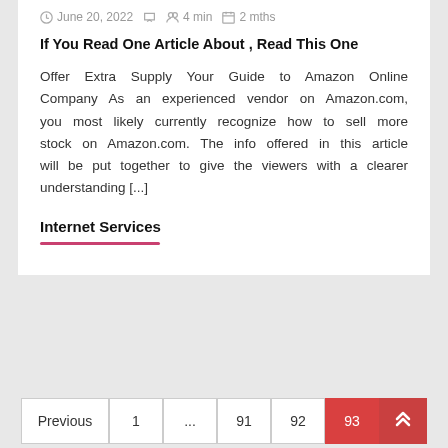June 20, 2022   4 min   2 mths
If You Read One Article About , Read This One
Offer Extra Supply Your Guide to Amazon Online Company As an experienced vendor on Amazon.com, you most likely currently recognize how to sell more stock on Amazon.com. The info offered in this article will be put together to give the viewers with a clearer understanding [...]
Internet Services
Previous  1  ...  91  92  93